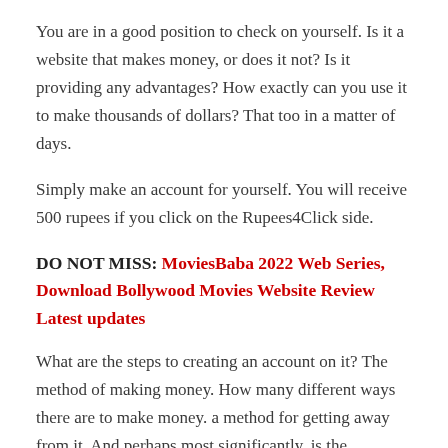You are in a good position to check on yourself. Is it a website that makes money, or does it not? Is it providing any advantages? How exactly can you use it to make thousands of dollars? That too in a matter of days.
Simply make an account for yourself. You will receive 500 rupees if you click on the Rupees4Click side.
DO NOT MISS: MoviesBaba 2022 Web Series, Download Bollywood Movies Website Review Latest updates
What are the steps to creating an account on it? The method of making money. How many different ways there are to make money. a method for getting away from it. And perhaps most significantly, is the legitimate or phony side of the Rupees4click website?